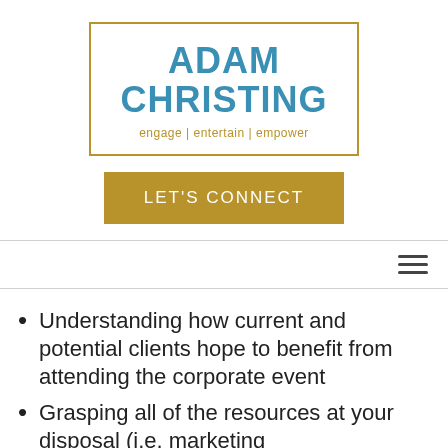[Figure (logo): Adam Christing logo with gold border, blue text reading ADAM CHRISTING, and gold tagline reading engage | entertain | empower]
LET'S CONNECT
Understanding how current and potential clients hope to benefit from attending the corporate event
Grasping all of the resources at your disposal (i.e. marketing